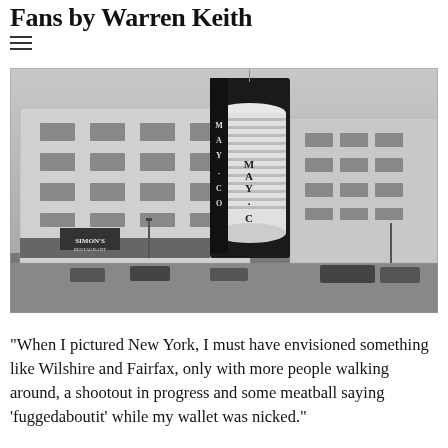Fans by Warren Keith
[Figure (photo): Black and white photograph of the May Co. department store building at Wilshire and Fairfax, Los Angeles. The Art Deco building features a distinctive cylindrical tower with 'MAY CO' lettering. Street scene with vintage 1940s automobiles and a Simon's restaurant sign visible at street level.]
“When I pictured New York, I must have envisioned something like Wilshire and Fairfax, only with more people walking around, a shootout in progress and some meatball saying ‘fuggedaboutit’ while my wallet was nicked.”